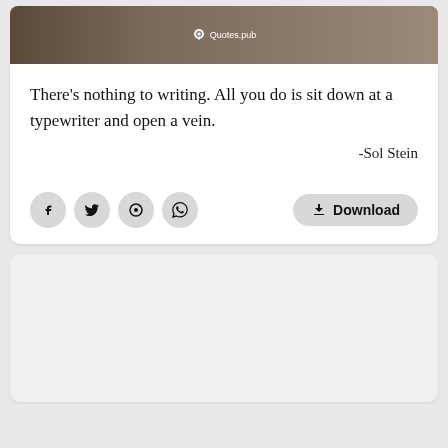[Figure (photo): Blurred cat photo background with Quotes.pub logo overlay at top]
There’s nothing to writing. All you do is sit down at a typewriter and open a vein.
-Sol Stein
[Figure (infographic): Social share buttons (Facebook, Twitter, Pinterest, WhatsApp) and a Download button]
[Figure (other): Empty grey advertisement or content placeholder box]